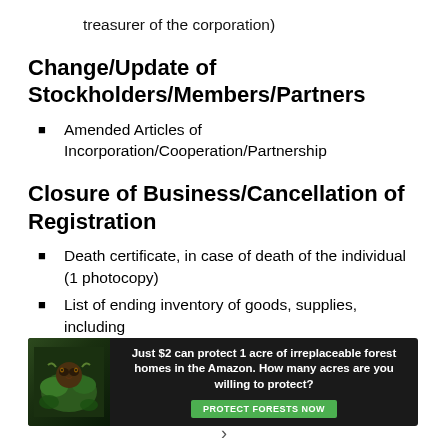treasurer of the corporation)
Change/Update of Stockholders/Members/Partners
Amended Articles of Incorporation/Cooperation/Partnership
Closure of Business/Cancellation of Registration
Death certificate, in case of death of the individual (1 photocopy)
List of ending inventory of goods, supplies, including
[Figure (infographic): Advertisement banner: 'Just $2 can protect 1 acre of irreplaceable forest homes in the Amazon. How many acres are you willing to protect?' with a green PROTECT FORESTS NOW button and a rainforest/animal image on the left.]
›